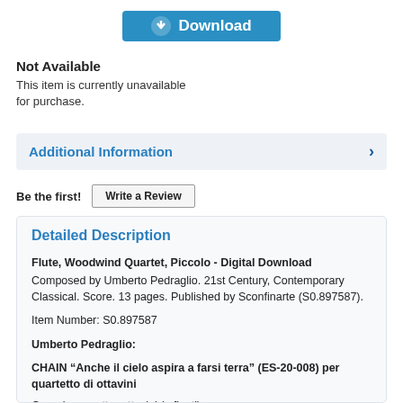[Figure (screenshot): Digital Download button with blue background and downward arrow icon]
Not Available
This item is currently unavailable for purchase.
Additional Information
Be the first!
Write a Review
Detailed Description
Flute, Woodwind Quartet, Piccolo - Digital Download
Composed by Umberto Pedraglio. 21st Century, Contemporary Classical. Score. 13 pages. Published by Sconfinarte (S0.897587).
Item Number: S0.897587
Umberto Pedraglio:
CHAIN “Anche il cielo aspira a farsi terra” (ES-20-008) per quartetto di ottavini
Organico: quattro ottavini (o flauti)
http://www.edizionisconfinarte.com